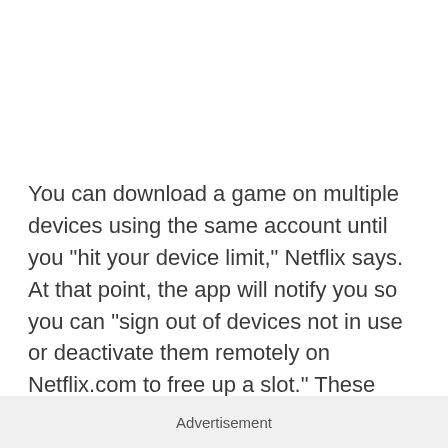You can download a game on multiple devices using the same account until you "hit your device limit," Netflix says. At that point, the app will notify you so you can "sign out of devices not in use or deactivate them remotely on Netflix.com to free up a slot." These games also can't be accessed through children's profiles unless you use your PIN to unlock them.
Advertisement